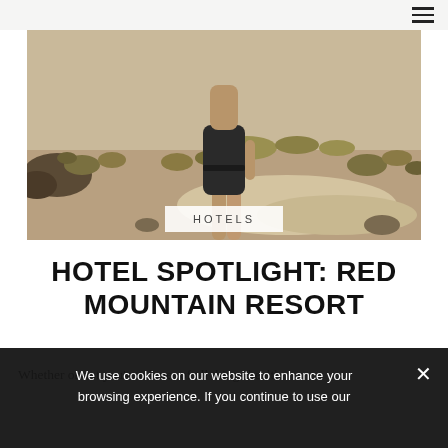[Figure (photo): A person standing outdoors in a desert/arid landscape with dry shrubs and rocky terrain, wearing dark shorts. The scene has warm earthy tones.]
HOTELS
HOTEL SPOTLIGHT: RED MOUNTAIN RESORT
Whether or not you're a lover of all things health
We use cookies on our website to enhance your browsing experience. If you continue to use our